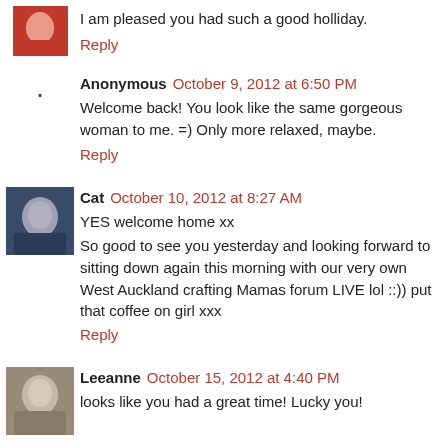I am pleased you had such a good holliday.
Reply
Anonymous October 9, 2012 at 6:50 PM
Welcome back! You look like the same gorgeous woman to me. =) Only more relaxed, maybe.
Reply
Cat October 10, 2012 at 8:27 AM
YES welcome home xx
So good to see you yesterday and looking forward to sitting down again this morning with our very own West Auckland crafting Mamas forum LIVE lol ::)) put that coffee on girl xxx
Reply
Leeanne October 15, 2012 at 4:40 PM
looks like you had a great time! Lucky you!